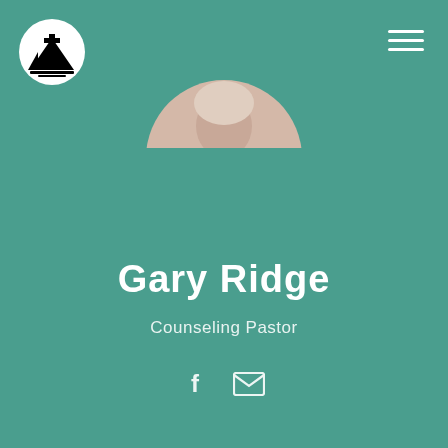[Figure (logo): Mountain church logo inside a white circle, black mountain silhouette with cross]
[Figure (photo): Partial circular cropped headshot photo of Gary Ridge, showing top of head with light-colored short hair on teal background]
Gary Ridge
Counseling Pastor
[Figure (infographic): Social media icons: Facebook 'f' icon and email envelope icon, white on teal background]